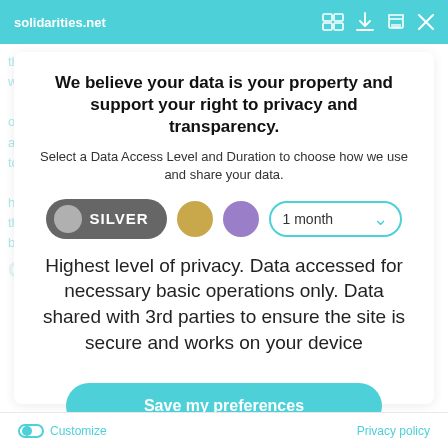solidarities.net
We believe your data is your property and support your right to privacy and transparency.
Select a Data Access Level and Duration to choose how we use and share your data.
[Figure (infographic): Privacy level selector showing SILVER button (dark grey pill with grey circle), gold dot, purple dot, and a '1 month' dropdown with teal border.]
Highest level of privacy. Data accessed for necessary basic operations only. Data shared with 3rd parties to ensure the site is secure and works on your device
Save my preferences
Customize   Privacy policy